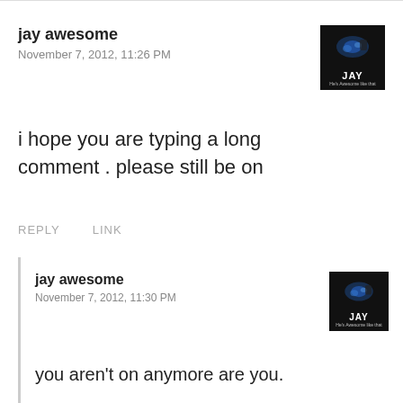jay awesome
November 7, 2012, 11:26 PM
i hope you are typing a long comment . please still be on
REPLY   LINK
jay awesome
November 7, 2012, 11:30 PM
you aren't on anymore are you.
REPLY   LINK